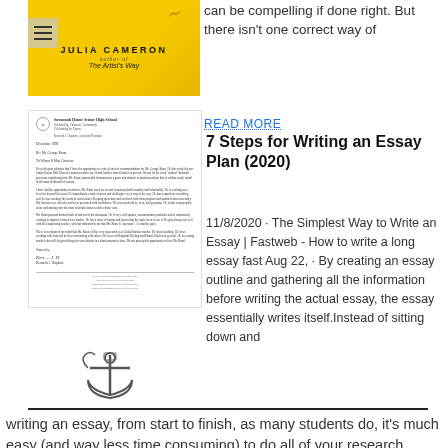[Figure (photo): Book cover for Julia Cameron, author of The Artist's Way, yellow background with feather illustration]
can be compelling if done right. But there isn't one correct way of
[Figure (photo): Scanned letter from a school on official letterhead with signature]
READ MORE
7 Steps for Writing an Essay Plan (2020)
[Figure (illustration): Anchor or writing instrument illustration]
11/8/2020 · The Simplest Way to Write an Essay | Fastweb - How to write a long essay fast Aug 22, · By creating an essay outline and gathering all the information before writing the actual essay, the essay essentially writes itself.Instead of sitting down and writing an essay, from start to finish, as many students do, it's much easy (and way less time consuming) to do all of your research beforehand